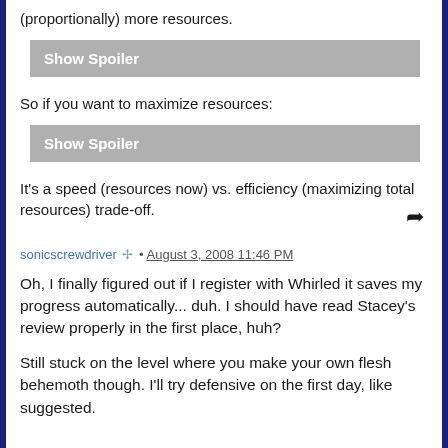(proportionally) more resources.
[Figure (other): Show Spoiler button (gray)]
So if you want to maximize resources:
[Figure (other): Show Spoiler button (gray)]
It's a speed (resources now) vs. efficiency (maximizing total resources) trade-off.
sonicscrewdriver [moderator icon] · August 3, 2008 11:46 PM
Oh, I finally figured out if I register with Whirled it saves my progress automatically... duh. I should have read Stacey's review properly in the first place, huh?
Still stuck on the level where you make your own flesh behemoth though. I'll try defensive on the first day, like suggested.